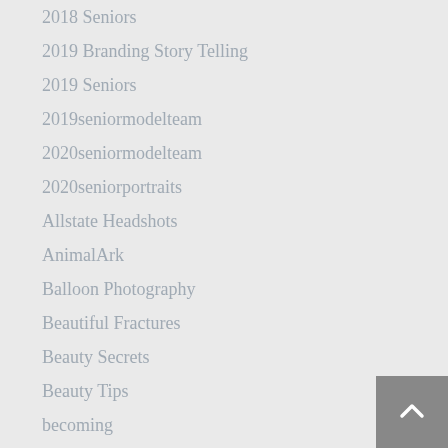2018 Seniors
2019 Branding Story Telling
2019 Seniors
2019seniormodelteam
2020seniormodelteam
2020seniorportraits
Allstate Headshots
AnimalArk
Balloon Photography
Beautiful Fractures
Beauty Secrets
Beauty Tips
becoming
beseen
Bridal Hair
Bridal Makeup and Hair
Business Headshots